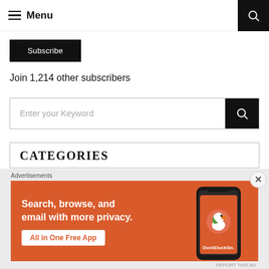Menu
Subscribe
Join 1,214 other subscribers
Enter your Keyword
CATEGORIES
[Figure (screenshot): DuckDuckGo advertisement banner: orange background with text 'Search, browse, and email with more privacy. All in One Free App' alongside a phone showing the DuckDuckGo logo. Labeled 'Advertisements' with a close (X) button.]